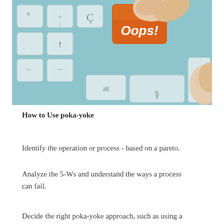[Figure (photo): A finger pressing an orange keyboard key labeled 'Oops!' on a light blue/grey keyboard with other standard keys visible including ctrl and alt.]
How to Use poka-yoke
Identify the operation or process - based on a pareto.
Analyze the 5-Ws and understand the ways a process can fail.
Decide the right poka-yoke approach, such as using a